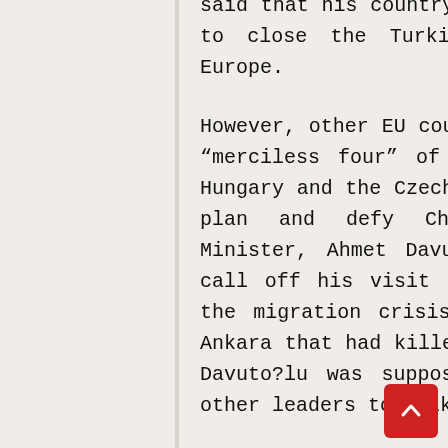said that his country still supported the proposed plan to close the Turkish borders and fly refugees to Europe.

However, other EU countries, most notably the so-called “merciless four” of the Visegrad countries – Poland, Hungary and the Czech and Slovak Republics – oppose the plan and defy Chancellor Merkel. Turkish Prime Minister, Ahmet Davuto?lu, was in the end forced to call off his visit to Brussels to attend meetings on the migration crisis due to the Wednesday attacks in Ankara that had killed 28 people and wounded dozens. Mr Davuto?lu was supposed to meet Angela Merkel and 10 other leaders to talk about the ways to